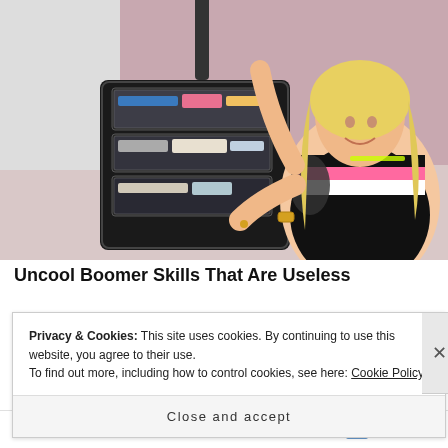[Figure (photo): A smiling blonde woman in a colorful pink, white, and black striped dress kneeling beside an open suitcase with a toiletry organizer attached to the inside lid, holding the luggage handle.]
Uncool Boomer Skills That Are Useless
Bon Voyaged
Privacy & Cookies: This site uses cookies. By continuing to use this website, you agree to their use.
To find out more, including how to control cookies, see here: Cookie Policy
Close and accept
Follow ...